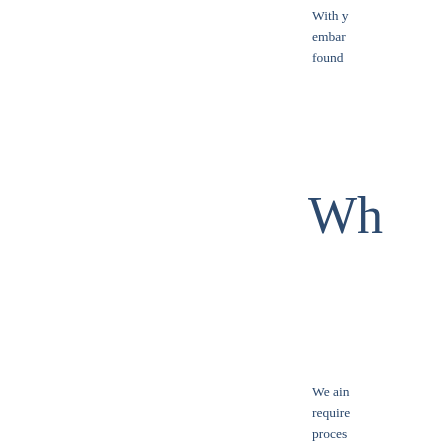With y embark found
Wh
We air require proces
Wh
We wa exclus
In the names full